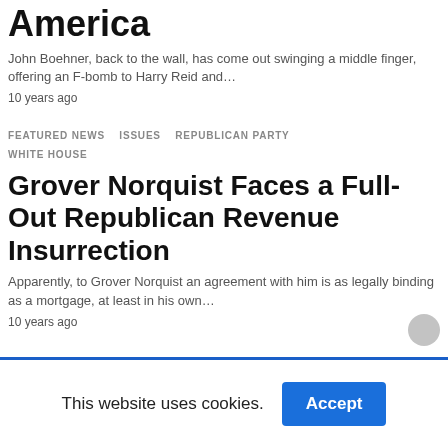America
John Boehner, back to the wall, has come out swinging a middle finger, offering an F-bomb to Harry Reid and…
10 years ago
FEATURED NEWS   ISSUES   REPUBLICAN PARTY   WHITE HOUSE
Grover Norquist Faces a Full-Out Republican Revenue Insurrection
Apparently, to Grover Norquist an agreement with him is as legally binding as a mortgage, at least in his own…
10 years ago
This website uses cookies.